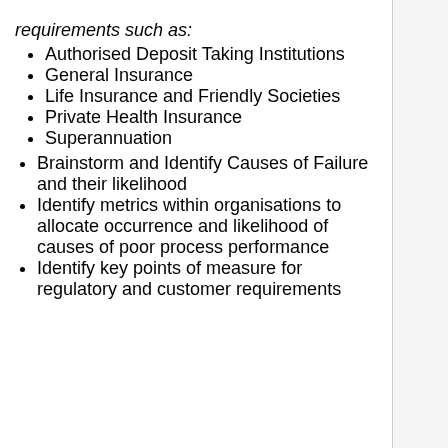Authorised Deposit Taking Institutions
General Insurance
Life Insurance and Friendly Societies
Private Health Insurance
Superannuation
Brainstorm and Identify Causes of Failure and their likelihood
Identify metrics within organisations to allocate occurrence and likelihood of causes of poor process performance
Identify key points of measure for regulatory and customer requirements